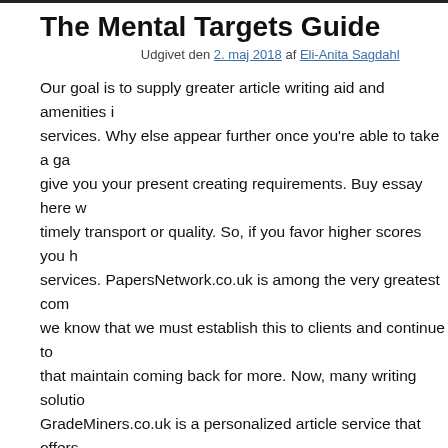The Mental Targets Guide
Udgivet den 2. maj 2018 af Eli-Anita Sagdahl
Our goal is to supply greater article writing aid and amenities in services. Why else appear further once you're able to take a gam give you your present creating requirements. Buy essay here wi timely transport or quality. So, if you favor higher scores you ha services. PapersNetwork.co.uk is among the very greatest comp we know that we must establish this to clients and continue to d that maintain coming back for more. Now, many writing solutio GradeMiners.co.uk is a personalized article service that offers e You may not need to be concerned about your own complex edu provide you with the best / brilliantly assist with writing docum
The youngsters pick what they need to do a
Writing an academic document includes an exhaustive research review topic. Locating a low-cost essay writing service isn't alw this stage, you should begin to contemplate the subscriber of yo